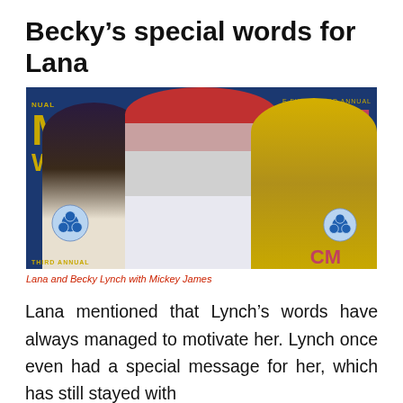Becky’s special words for Lana
[Figure (photo): Three women posing together at the ACM Awards red carpet. Left: a woman in a dark outfit with dark hair. Center: a woman with long red hair wearing a silver/white top and striped pants (Becky Lynch). Right: a tall blonde woman in a gold sequined dress (Lana). ACM Awards branded backdrop behind them with CBS logos visible.]
Lana and Becky Lynch with Mickey James
Lana mentioned that Lynch’s words have always managed to motivate her. Lynch once even had a special message for her, which has still stayed with